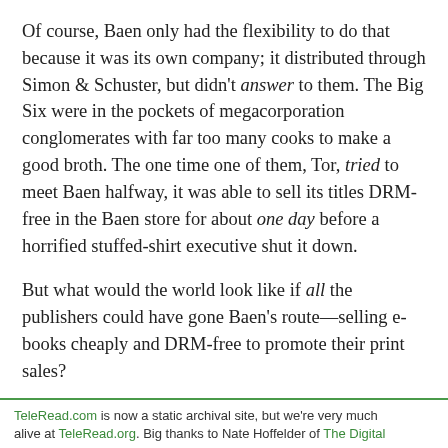Of course, Baen only had the flexibility to do that because it was its own company; it distributed through Simon & Schuster, but didn't answer to them. The Big Six were in the pockets of megacorporation conglomerates with far too many cooks to make a good broth. The one time one of them, Tor, tried to meet Baen halfway, it was able to sell its titles DRM-free in the Baen store for about one day before a horrified stuffed-shirt executive shut it down.
But what would the world look like if all the publishers could have gone Baen's route—selling e-books cheaply and DRM-free to promote their print sales?
TeleRead.com is now a static archival site, but we're very much alive at TeleRead.org. Big thanks to Nate Hoffelder of The Digital...